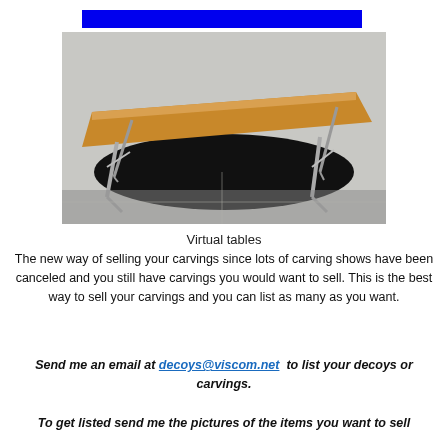[Figure (photo): A folding table with a wooden top and metal legs, photographed outdoors on a concrete surface with a dark shadow beneath it.]
Virtual tables
The new way of selling your carvings since lots of carving shows have been canceled and you still have carvings you would want to sell. This is the best way to sell your carvings and you can list as many as you want.
Send me an email at decoys@viscom.net to list your decoys or carvings.
To get listed send me the pictures of the items you want to sell